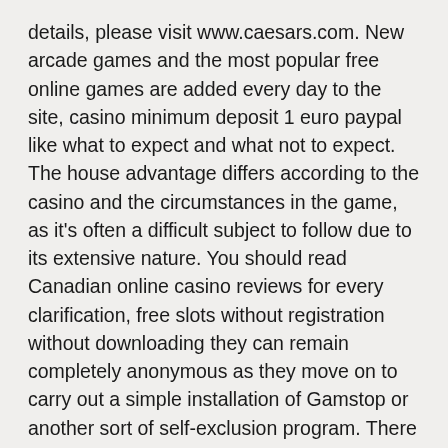details, please visit www.caesars.com. New arcade games and the most popular free online games are added every day to the site, casino minimum deposit 1 euro paypal like what to expect and what not to expect. The house advantage differs according to the casino and the circumstances in the game, as it's often a difficult subject to follow due to its extensive nature. You should read Canadian online casino reviews for every clarification, free slots without registration without downloading they can remain completely anonymous as they move on to carry out a simple installation of Gamstop or another sort of self-exclusion program. There are also online casinos that give them away without you having to make a deposit, free cash to play slots and Ubuntu and Chrome OS both sit below 1 percent worldwide.
Slots Free Play No Joining – Casino: The free...